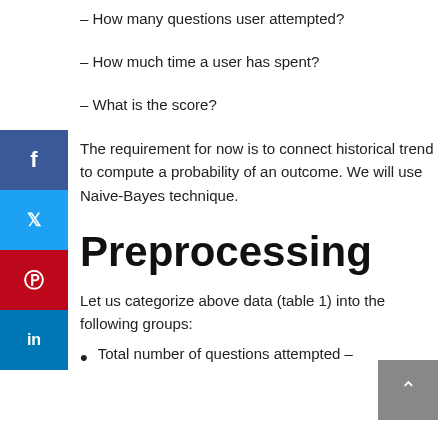– How many questions user attempted?
– How much time a user has spent?
– What is the score?
The requirement for now is to connect historical trend to compute a probability of an outcome. We will use Naive-Bayes technique.
Preprocessing
Let us categorize above data (table 1) into the following groups:
Total number of questions attempted –